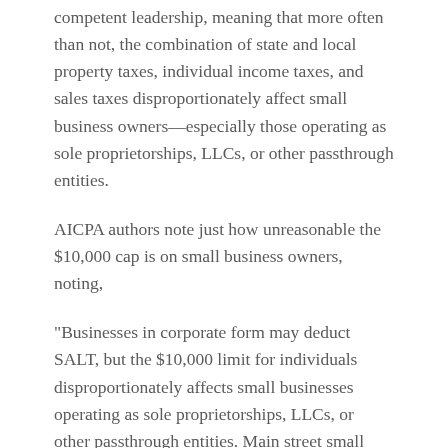competent leadership, meaning that more often than not, the combination of state and local property taxes, individual income taxes, and sales taxes disproportionately affect small business owners—especially those operating as sole proprietorships, LLCs, or other passthrough entities.
AICPA authors note just how unreasonable the $10,000 cap is on small business owners, noting,
"Businesses in corporate form may deduct SALT, but the $10,000 limit for individuals disproportionately affects small businesses operating as sole proprietorships, LLCs, or other passthrough entities. Main street small businesses are the backbone of the economy, and employees of these businesses are inadequately compensated in...